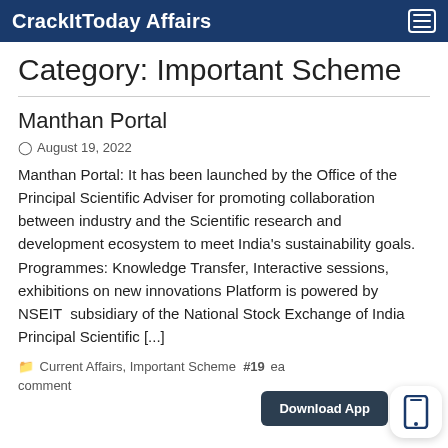CrackItToday Affairs
Category: Important Scheme
Manthan Portal
August 19, 2022
Manthan Portal: It has been launched by the Office of the Principal Scientific Adviser for promoting collaboration between industry and the Scientific research and development ecosystem to meet India's sustainability goals. Programmes: Knowledge Transfer, Interactive sessions, exhibitions on new innovations Platform is powered by NSEIT  subsidiary of the National Stock Exchange of India Principal Scientific [...]
Current Affairs, Important Scheme  #19... ea  comment